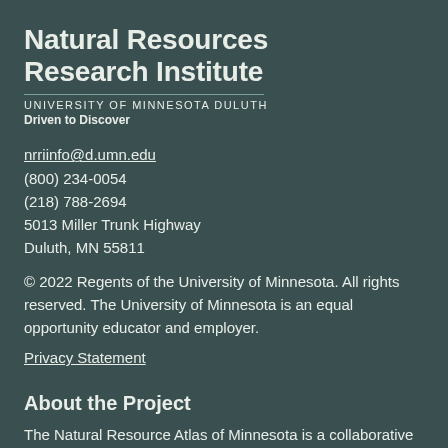Natural Resources Research Institute
University of Minnesota Duluth
Driven to Discover
nrriinfo@d.umn.edu
(800) 234-0054
(218) 788-2694
5013 Miller Trunk Highway
Duluth, MN 55811
© 2022 Regents of the University of Minnesota. All rights reserved. The University of Minnesota is an equal opportunity educator and employer.
Privacy Statement
About the Project
The Natural Resource Atlas of Minnesota is a collaborative project led by the Natural Resources Research Institute